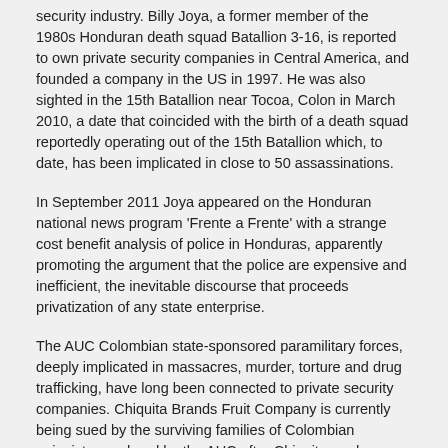security industry. Billy Joya, a former member of the 1980s Honduran death squad Batallion 3-16, is reported to own private security companies in Central America, and founded a company in the US in 1997. He was also sighted in the 15th Batallion near Tocoa, Colon in March 2010, a date that coincided with the birth of a death squad reportedly operating out of the 15th Batallion which, to date, has been implicated in close to 50 assassinations.
In September 2011 Joya appeared on the Honduran national news program 'Frente a Frente' with a strange cost benefit analysis of police in Honduras, apparently promoting the argument that the police are expensive and inefficient, the inevitable discourse that proceeds privatization of any state enterprise.
The AUC Colombian state-sponsored paramilitary forces, deeply implicated in massacres, murder, torture and drug trafficking, have long been connected to private security companies. Chiquita Brands Fruit Company is currently being sued by the surviving families of Colombian unionists murdered by the AUC after Chiquita made payments in 2004 to AUC affiliated private security companies.
There is no doubt that private security contracting companies are a means of facilitating impunity for States and corporations by contracting out repression and other dirty business. Lawsuits forced Blackwater to change its name to Xe and move its headquarters to the United Arab Emerites.